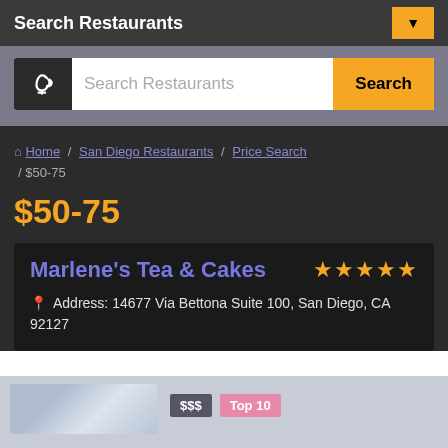Search Restaurants
[Figure (screenshot): Search bar with restaurant icon, text field placeholder 'Search Restaurants', and yellow Search button]
Home / San Diego Restaurants / Price Search / $50-75
$50-75
Marlene's Tea & Cakes ★★★★★ Address: 14677 Via Bettona Suite 100, San Diego, CA 92127
[Figure (photo): Thumbnail image of food/restaurant with $$$ and Top 10 badges]